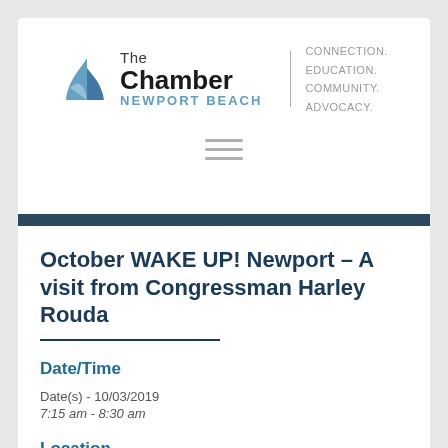[Figure (logo): The Chamber Newport Beach logo with sailboat icon, text 'The Chamber / NEWPORT BEACH' and tagline 'CONNECTION. EDUCATION. COMMUNITY. ADVOCACY.']
[Figure (other): Hamburger menu icon with three horizontal lines]
October WAKE UP! Newport – A visit from Congressman Harley Rouda
Date/Time
Date(s) - 10/03/2019
7:15 am - 8:30 am
Location